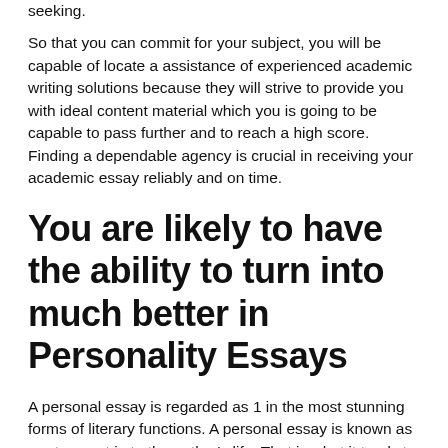seeking.
So that you can commit for your subject, you will be capable of locate a assistance of experienced academic writing solutions because they will strive to provide you with ideal content material which you is going to be capable to pass further and to reach a high score. Finding a dependable agency is crucial in receiving your academic essay reliably and on time.
You are likely to have the ability to turn into much better in Personality Essays
A personal essay is regarded as 1 in the most stunning forms of literary functions. A personal essay is known as a retrospect in to the author's life. That is what it tends to make it private.